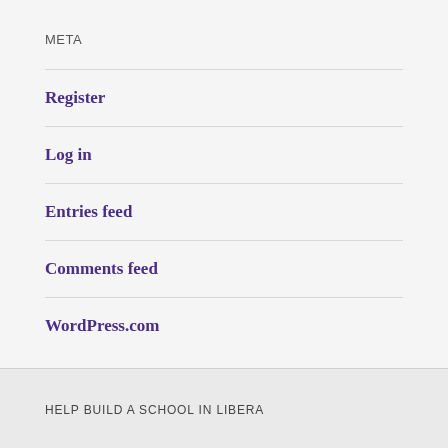META
Register
Log in
Entries feed
Comments feed
WordPress.com
HELP BUILD A SCHOOL IN LIBERA